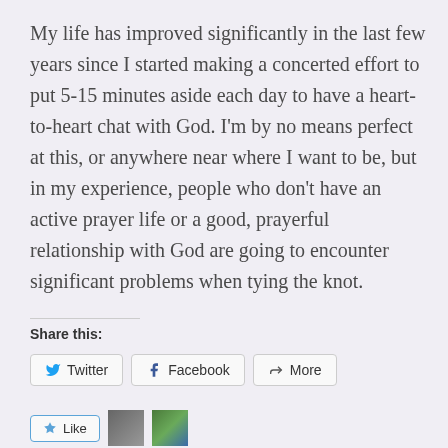My life has improved significantly in the last few years since I started making a concerted effort to put 5-15 minutes aside each day to have a heart-to-heart chat with God. I'm by no means perfect at this, or anywhere near where I want to be, but in my experience, people who don't have an active prayer life or a good, prayerful relationship with God are going to encounter significant problems when tying the knot.
Share this:
Twitter  Facebook  More
Like